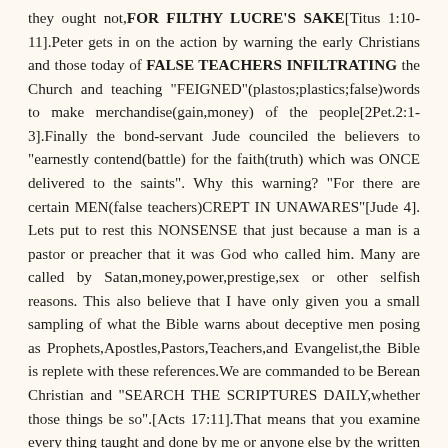they ought not,FOR FILTHY LUCRE'S SAKE[Titus 1:10-11].Peter gets in on the action by warning the early Christians and those today of FALSE TEACHERS INFILTRATING the Church and teaching "FEIGNED"(plastos;plastics;false)words to make merchandise(gain,money) of the people[2Pet.2:1-3].Finally the bond-servant Jude counciled the believers to "earnestly contend(battle) for the faith(truth) which was ONCE delivered to the saints". Why this warning? "For there are certain MEN(false teachers)CREPT IN UNAWARES"[Jude 4]. Lets put to rest this NONSENSE that just because a man is a pastor or preacher that it was God who called him. Many are called by Satan,money,power,prestige,sex or other selfish reasons. This also believe that I have only given you a small sampling of what the Bible warns about deceptive men posing as Prophets,Apostles,Pastors,Teachers,and Evangelist,the Bible is replete with these references.We are commanded to be Berean Christian and "SEARCH THE SCRIPTURES DAILY,whether those things be so".[Acts 17:11].That means that you examine every thing taught and done by me or anyone else by the written Word of God(THE BIBLE).Jesus stated that"you will know them by their fruit".Also the responsibility of a Pastor is to protect,nurture, care for be an example for the people of God over